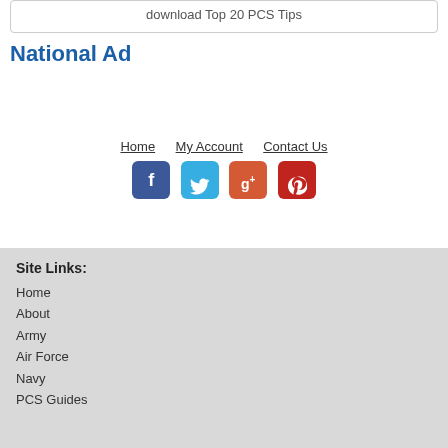download Top 20 PCS Tips
National Ad
Home · My Account · Contact Us
[Figure (infographic): Social media icon buttons: Facebook (blue), Twitter (light blue), Google+ (orange-red), Pinterest (red)]
Site Links:
Home
About
Army
Air Force
Navy
PCS Guides